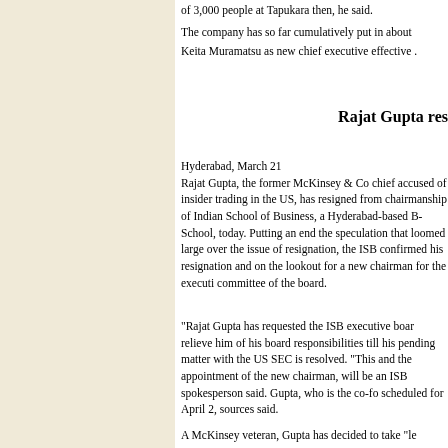of 3,000 people at Tapukara then, he said.
The company has so far cumulatively put in about Keita Muramatsu as new chief executive effective .
Rajat Gupta res
Hyderabad, March 21
Rajat Gupta, the former McKinsey & Co chief accused of insider trading in the US, has resigned from chairmanship of Indian School of Business, a Hyderabad-based B-School, today. Putting an end the speculation that loomed large over the issue of resignation, the ISB confirmed his resignation and on the lookout for a new chairman for the executi committee of the board.
"Rajat Gupta has requested the ISB executive boar relieve him of his board responsibilities till his pending matter with the US SEC is resolved. "This and the appointment of the new chairman, will be  an ISB spokesperson said. Gupta, who is the co-fo scheduled for April 2, sources said.
A McKinsey veteran, Gupta has decided to take "le